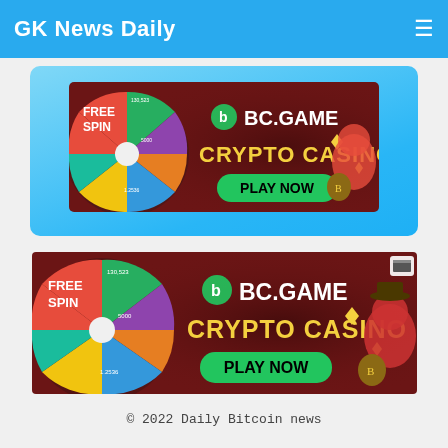GK News Daily
[Figure (screenshot): BC.GAME Crypto Casino advertisement banner with FREE SPIN wheel and PLAY NOW button, shown inside a light blue card area]
[Figure (screenshot): BC.GAME Crypto Casino advertisement banner with FREE SPIN wheel and PLAY NOW button, standalone below the card]
© 2022 Daily Bitcoin news